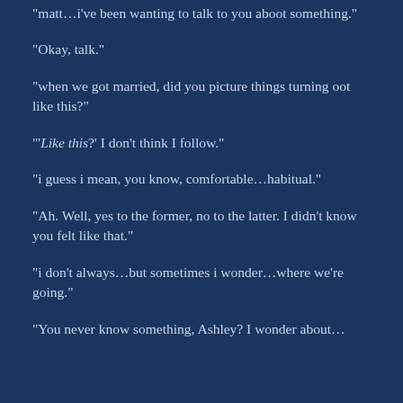“matt…i’ve been wanting to talk to you aboot something.”
“Okay, talk.”
“when we got married, did you picture things turning oot like this?”
“‘Like this?’  I don’t think I follow.”
“i guess i mean, you know, comfortable…habitual.”
“Ah.  Well, yes to the former, no to the latter.  I didn’t know you felt like that.”
“i don’t always…but sometimes i wonder…where we’re going.”
“You’ve never known something, Ashley? I wonder about…